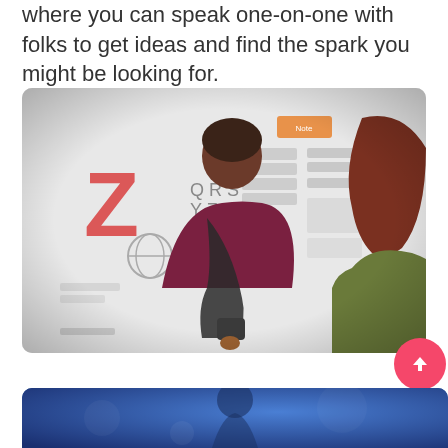where you can speak one-on-one with folks to get ideas and find the spark you might be looking for.
[Figure (photo): Two people viewed from behind, looking at a whiteboard covered with sticky notes and printed materials. The person on the left is wearing a maroon t-shirt and carrying a dark bag; the person on the right has reddish-brown hair and is wearing an olive green top. On the whiteboard there is a large red letter Z and smaller text 'Q R S Y Z 1 7 8 9' along with various notes and diagrams.]
[Figure (photo): Partial view of a second photo at the bottom of the page, showing a dark blue/indigo background with a partially visible person.]